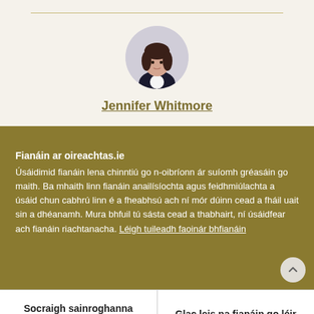[Figure (photo): Circular portrait photo of Jennifer Whitmore, a woman with dark hair, wearing a dark jacket.]
Jennifer Whitmore
Fianáin ar oireachtas.ie
Úsáidimid fianáin lena chinntiú go n-oibríonn ár suíomh gréasáin go maith. Ba mhaith linn fianáin anailísíochta agus feidhmiúlachta a úsáid chun cabhrú linn é a fheabhsú ach ní mór dúinn cead a fháil uait sin a dhéanamh. Mura bhfuil tú sásta cead a thabhairt, ní úsáidfear ach fianáin riachtanacha. Léigh tuileadh faoinár bhfianáin
Socraigh sainroghanna fianán
Glac leis na fianáin go léir